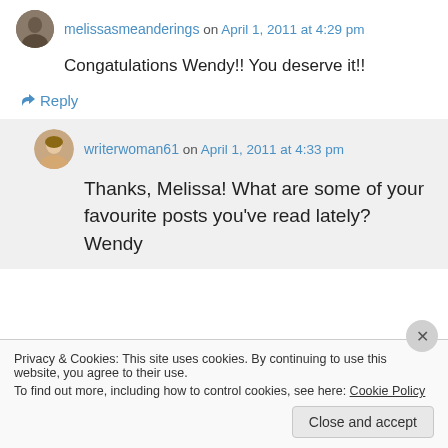melissasmeanderings on April 1, 2011 at 4:29 pm
Congatulations Wendy!! You deserve it!!
↳ Reply
writerwoman61 on April 1, 2011 at 4:33 pm
Thanks, Melissa! What are some of your favourite posts you've read lately? Wendy
Privacy & Cookies: This site uses cookies. By continuing to use this website, you agree to their use. To find out more, including how to control cookies, see here: Cookie Policy
Close and accept